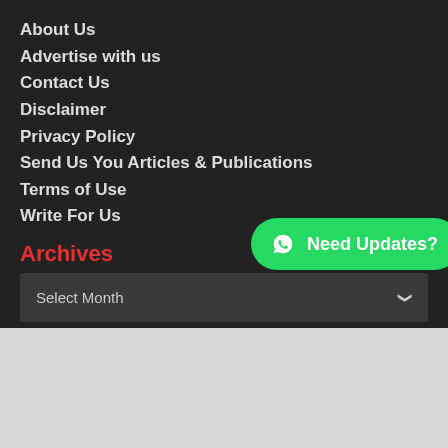About Us
Advertise with us
Contact Us
Disclaimer
Privacy Policy
Send Us You Articles & Publications
Terms of Use
Write For Us
[Figure (other): WhatsApp button with text 'Need Updates?']
Archives
[Figure (other): Select Month dropdown]
Download Our App